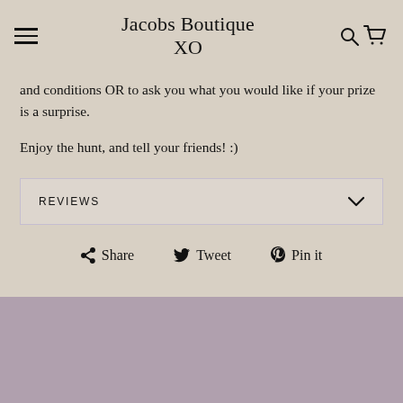Jacobs Boutique XO
and conditions OR to ask you what you would like if your prize is a surprise.
Enjoy the hunt, and tell your friends! :)
REVIEWS
Share  Tweet  Pin it